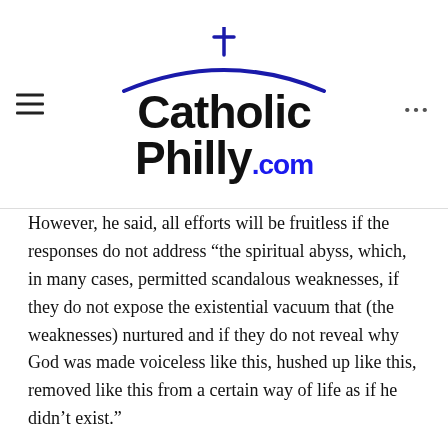CatholicPhilly.com
However, he said, all efforts will be fruitless if the responses do not address “the spiritual abyss, which, in many cases, permitted scandalous weaknesses, if they do not expose the existential vacuum that (the weaknesses) nurtured and if they do not reveal why God was made voiceless like this, hushed up like this, removed like this from a certain way of life as if he didn’t exist.”
The pope’s remarks came in a lengthy speech Sept. 13 to 144 recently appointed bishops from around the world. It also came a day after he announced he was convening a global gathering of the presidents of the world’s bishops’ conferences to discuss the prevention of abuse and the protection of minors and vulnerable adults in the wake of ongoing revelations of abuse